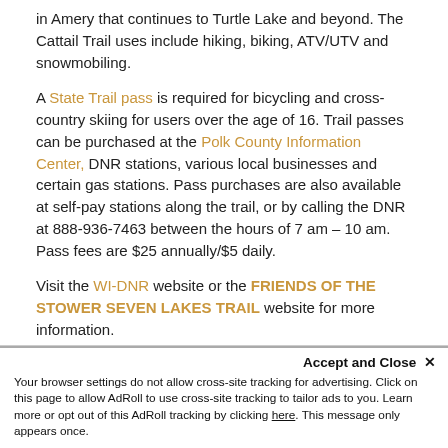in Amery that continues to Turtle Lake and beyond. The Cattail Trail uses include hiking, biking, ATV/UTV and snowmobiling.
A State Trail pass is required for bicycling and cross-country skiing for users over the age of 16. Trail passes can be purchased at the Polk County Information Center, DNR stations, various local businesses and certain gas stations. Pass purchases are also available at self-pay stations along the trail, or by calling the DNR at 888-936-7463 between the hours of 7 am – 10 am. Pass fees are $25 annually/$5 daily.
Visit the WI-DNR website or the FRIENDS OF THE STOWER SEVEN LAKES TRAIL website for more information.
Accept and Close ✕ Your browser settings do not allow cross-site tracking for advertising. Click on this page to allow AdRoll to use cross-site tracking to tailor ads to you. Learn more or opt out of this AdRoll tracking by clicking here. This message only appears once.